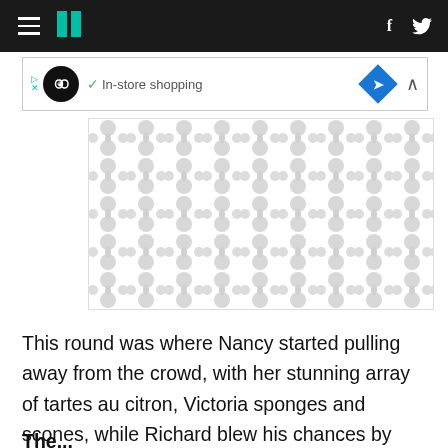HuffPost navigation with hamburger menu, logo, Facebook and Twitter icons
[Figure (screenshot): Ad banner showing in-store shopping with infinity loop icon, checkmark, blue diamond navigation icon]
[Figure (illustration): Gray and white repeating bubble/bowtie pattern placeholder image]
This round was where Nancy started pulling away from the crowd, with her stunning array of tartes au citron, Victoria sponges and scones, while Richard blew his chances by coming last.
The...